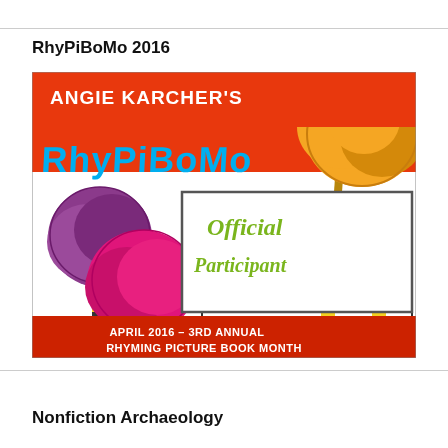RhyPiBoMo 2016
[Figure (illustration): RhyPiBoMo Official Participant badge for April 2016 - 3rd Annual Rhyming Picture Book Month by Angie Karcher. Features Dr. Seuss-style truffula trees with colorful pom-pom tops (purple, pink, orange/yellow) on an orange and white striped background with playful lettering.]
Nonfiction Archaeology